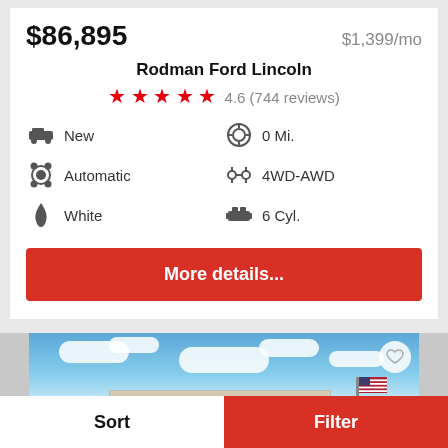$86,895
$1,399/mo
Rodman Ford Lincoln
4.6 (744 reviews)
New
0 Mi.
Automatic
4WD-AWD
White
6 Cyl.
More details...
[Figure (photo): Exterior photo of Rodman Ford Lincoln dealership building with American flag and blue sky]
Sort
Filter